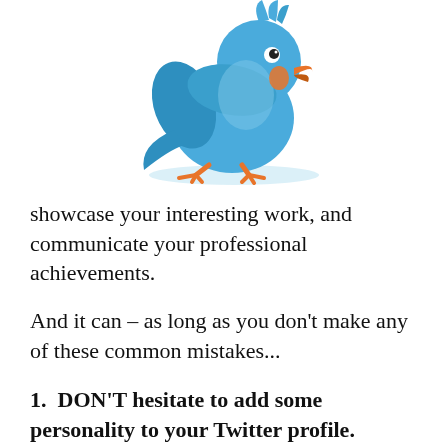[Figure (illustration): Cartoon blue Twitter bird standing, looking downward, with orange beak and orange legs/feet on a light blue shadow/ellipse]
showcase your interesting work, and communicate your professional achievements.
And it can – as long as you don't make any of these common mistakes...
1.  DON'T hesitate to add some personality to your Twitter profile.